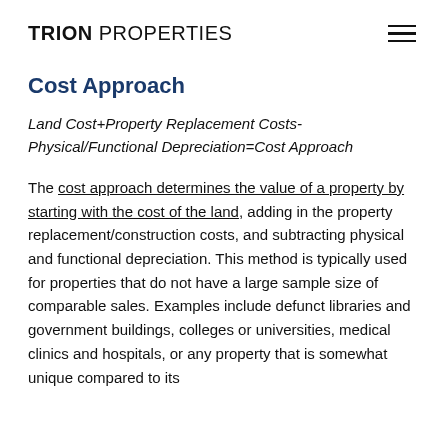TRION PROPERTIES
Cost Approach
The cost approach determines the value of a property by starting with the cost of the land, adding in the property replacement/construction costs, and subtracting physical and functional depreciation. This method is typically used for properties that do not have a large sample size of comparable sales. Examples include defunct libraries and government buildings, colleges or universities, medical clinics and hospitals, or any property that is somewhat unique compared to its